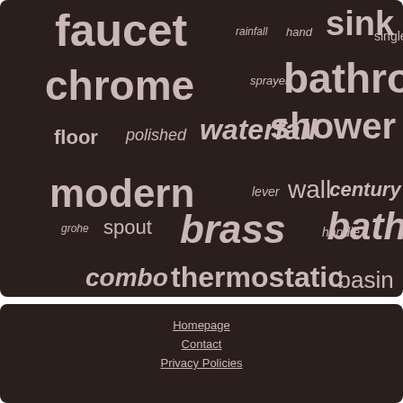[Figure (infographic): Word cloud on dark brown background featuring bathroom/faucet-related terms in varying sizes and weights. Largest words include: faucet, shower, chrome, bathroom, modern, brass, bath, mixer, head. Medium words: sink, waterfall, thermostatic, mounted. Smaller words: rainfall, hand, single, sprayer, floor, polished, lever, wall, century, grohe, spout, handle, combo, basin, kitchen, filler, valve]
Homepage
Contact
Privacy Policies